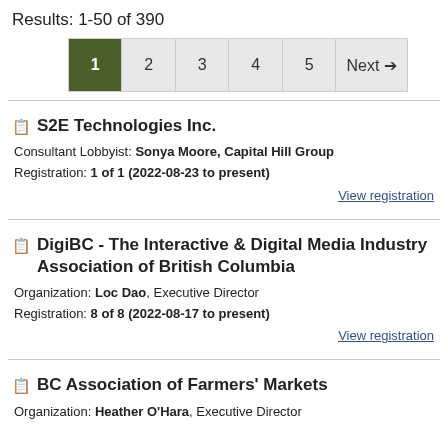Results: 1-50 of 390
1  2  3  4  5  Next →
S2E Technologies Inc.
Consultant Lobbyist: Sonya Moore, Capital Hill Group
Registration: 1 of 1 (2022-08-23 to present)
View registration
DigiBC - The Interactive & Digital Media Industry Association of British Columbia
Organization: Loc Dao, Executive Director
Registration: 8 of 8 (2022-08-17 to present)
View registration
BC Association of Farmers' Markets
Organization: Heather O'Hara, Executive Director